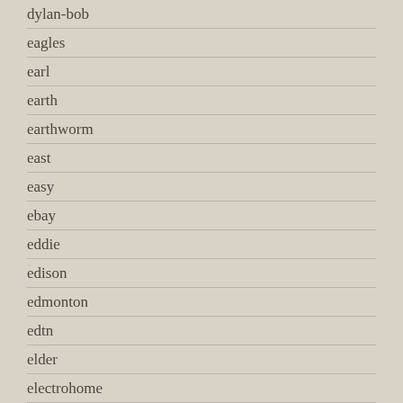dylan-bob
eagles
earl
earth
earthworm
east
easy
ebay
eddie
edison
edmonton
edtn
elder
electrohome
electron
elton